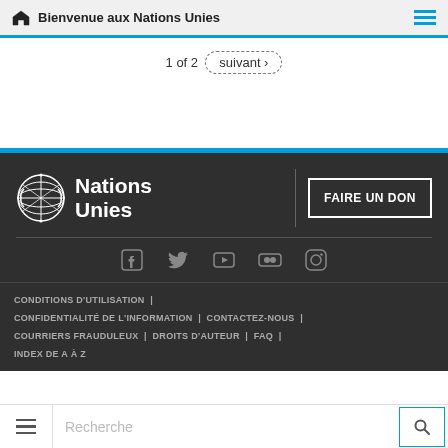Bienvenue aux Nations Unies
1 of 2  suivant ›
[Figure (logo): Nations Unies logo with globe emblem in white on dark background]
FAIRE UN DON
[Figure (infographic): Social media icons: Facebook, Twitter, YouTube, Flickr, Instagram]
CONDITIONS D'UTILISATION | CONFIDENTIALITÉ DE L'INFORMATION | CONTACTEZ-NOUS | COURRIERS FRAUDULEUX | DROITS D'AUTEUR | FAQ | INDEX DE A À Z
Recherche